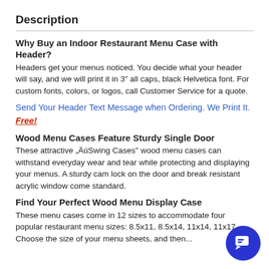Description
Why Buy an Indoor Restaurant Menu Case with Header?
Headers get your menus noticed. You decide what your header will say, and we will print it in 3" all caps, black Helvetica font. For custom fonts, colors, or logos, call Customer Service for a quote.
Send Your Header Text Message when Ordering. We Print It. Free!
Wood Menu Cases Feature Sturdy Single Door
These attractive „ÄúSwing Cases" wood menu cases can withstand everyday wear and tear while protecting and displaying your menus. A sturdy cam lock on the door and break resistant acrylic window come standard.
Find Your Perfect Wood Menu Display Case
These menu cases come in 12 sizes to accommodate four popular restaurant menu sizes: 8.5x11, 8.5x14, 11x14, 11x17. Choose the size of your menu sheets, and then...